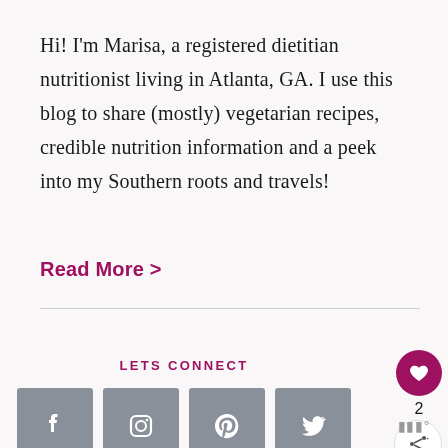Hi! I'm Marisa, a registered dietitian nutritionist living in Atlanta, GA. I use this blog to share (mostly) vegetarian recipes, credible nutrition information and a peek into my Southern roots and travels!
Read More >
LETS CONNECT
[Figure (infographic): Four social media icon buttons (Facebook, Instagram, Pinterest, Twitter) in gray square tiles; a floating heart button, share button, and number 2 on the right side; a small watermark logo at bottom right.]